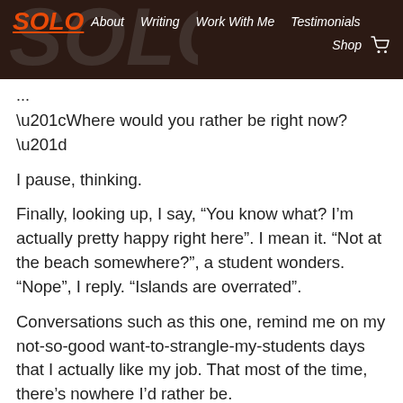SOLO | About  Writing  Work With Me  Testimonials  Shop
...
“Where would you rather be right now?”
I pause, thinking.
Finally, looking up, I say, “You know what? I’m actually pretty happy right here”. I mean it. “Not at the beach somewhere?”, a student wonders. “Nope”, I reply. “Islands are overrated”.
Conversations such as this one, remind me on my not-so-good want-to-strangle-my-students days that I actually like my job. That most of the time, there’s nowhere I’d rather be.